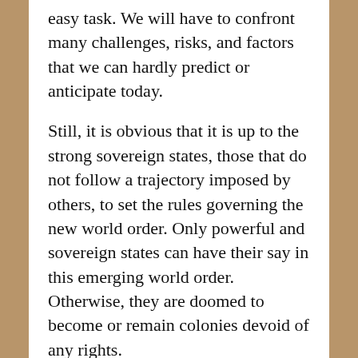easy task. We will have to confront many challenges, risks, and factors that we can hardly predict or anticipate today.
Still, it is obvious that it is up to the strong sovereign states, those that do not follow a trajectory imposed by others, to set the rules governing the new world order. Only powerful and sovereign states can have their say in this emerging world order. Otherwise, they are doomed to become or remain colonies devoid of any rights.
We need to move forward and change in keeping with the times, while demonstrating our national will and resolve. Russia enters this nascent era as a powerful sovereign nation. We will definitely use the new immense opportunities that are